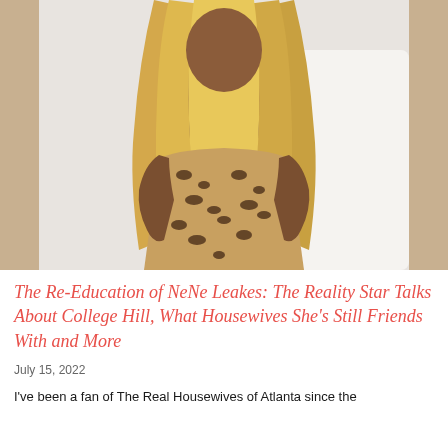[Figure (photo): Woman with long blonde wavy hair wearing a leopard print dress, seated against a white background]
The Re-Education of NeNe Leakes: The Reality Star Talks About College Hill, What Housewives She's Still Friends With and More
July 15, 2022
I've been a fan of The Real Housewives of Atlanta since the